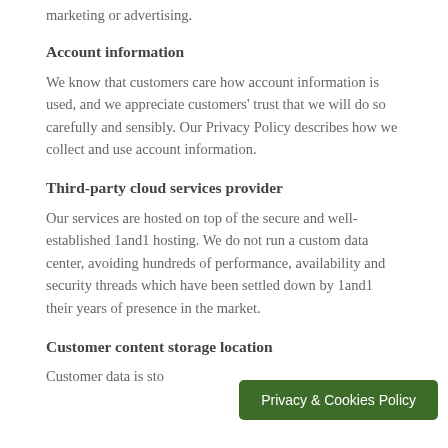marketing or advertising.
Account information
We know that customers care how account information is used, and we appreciate customers' trust that we will do so carefully and sensibly. Our Privacy Policy describes how we collect and use account information.
Third-party cloud services provider
Our services are hosted on top of the secure and well-established 1and1 hosting. We do not run a custom data center, avoiding hundreds of performance, availability and security threads which have been settled down by 1and1 their years of presence in the market.
Customer content storage location
Customer data is sto…
Privacy & Cookies Policy